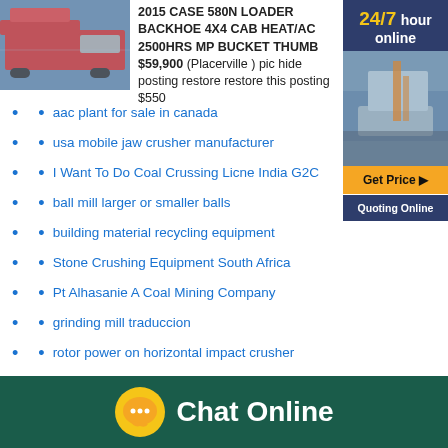[Figure (photo): Industrial machinery/construction equipment image]
2015 CASE 580N LOADER BACKHOE 4X4 CAB HEAT/AC 2500HRS MP BUCKET THUMB $59,900 (Placerville ) pic hide posting restore restore this posting $550
[Figure (infographic): Side advertisement banner: 24/7 hour online, mining equipment photo, Get Price button, Quoting Online]
aac plant for sale in canada
usa mobile jaw crusher manufacturer
I Want To Do Coal Crussing Licne India G2C
ball mill larger or smaller balls
building material recycling equipment
Stone Crushing Equipment South Africa
Pt Alhasanie A Coal Mining Company
grinding mill traduccion
rotor power on horizontal impact crusher
How Is Calcite Extracted Crusher South Africa
hydraulic hydraulic system for maintenance to ball mills
[Figure (infographic): Chat Online button bar at bottom with speech bubble icon]